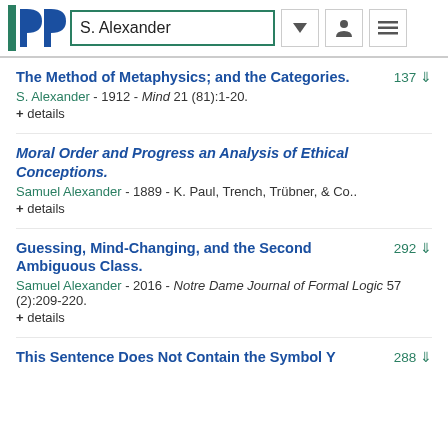S. Alexander — PhilPapers search results
The Method of Metaphysics; and the Categories. 137
S. Alexander - 1912 - Mind 21 (81):1-20.
+ details
Moral Order and Progress an Analysis of Ethical Conceptions.
Samuel Alexander - 1889 - K. Paul, Trench, Trübner, & Co..
+ details
Guessing, Mind-Changing, and the Second Ambiguous Class. 292
Samuel Alexander - 2016 - Notre Dame Journal of Formal Logic 57 (2):209-220.
+ details
This Sentence Does Not Contain the Symbol Y 288